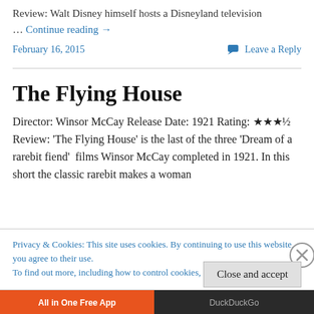Review: Walt Disney himself hosts a Disneyland television …
… Continue reading →
February 16, 2015
💬 Leave a Reply
The Flying House
Director: Winsor McCay Release Date: 1921 Rating: ★★★½ Review: 'The Flying House' is the last of the three 'Dream of a rarebit fiend'  films Winsor McCay completed in 1921. In this short the classic rarebit makes a woman
Privacy & Cookies: This site uses cookies. By continuing to use this website, you agree to their use. To find out more, including how to control cookies, see here: Cookie Policy
Close and accept